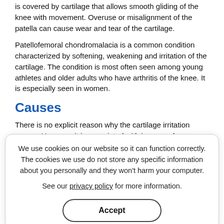is covered by cartilage that allows smooth gliding of the knee with movement. Overuse or misalignment of the patella can cause wear and tear of the cartilage.
Patellofemoral chondromalacia is a common condition characterized by softening, weakening and irritation of the cartilage. The condition is most often seen among young athletes and older adults who have arthritis of the knee. It is especially seen in women.
Causes
There is no explicit reason why the cartilage irritation occurs. However, it is associated with improper knee alignment or imbalance in the tightness of the muscles holding it in place.
Overuse of the knee joint can also cause wear and tear of the cartilage. This may cause popping or grinding of the kneecap over bone instead of it smoothly gliding over the knee joint.
Patellofemoral chondromalacia may also be caused due to injuries such as fractures or dislocations or may develop as a
We use cookies on our website so it can function correctly. The cookies we use do not store any specific information about you personally and they won't harm your computer.

See our privacy policy for more information.